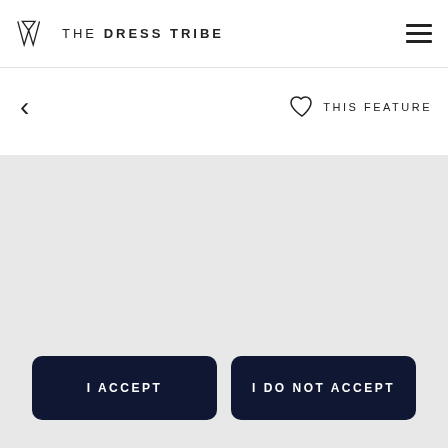THE DRESS TRIBE
< THIS FEATURE
[Figure (other): Large light grey empty content area placeholder]
I ACCEPT
I DO NOT ACCEPT